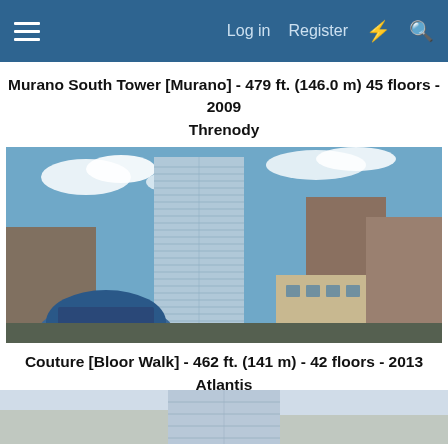≡   Log in   Register   ⚡   🔍
Murano South Tower [Murano] - 479 ft. (146.0 m) 45 floors - 2009
Threnody
[Figure (photo): Aerial photo of Murano South Tower, a tall glass skyscraper in an urban cityscape, with a blue-domed building visible in the foreground and other downtown buildings surrounding it.]
Couture [Bloor Walk] - 462 ft. (141 m) - 42 floors - 2013
Atlantis
[Figure (photo): Partially visible photo of Couture / Atlantis building, showing a modern tower, cropped at the bottom of the page.]